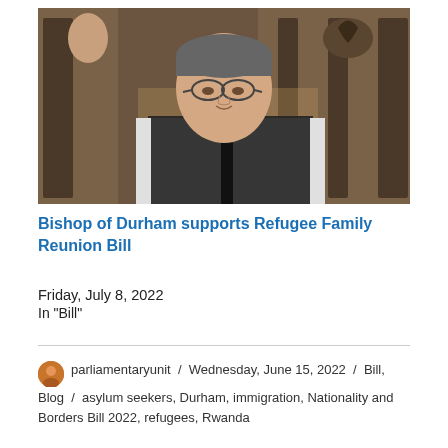[Figure (photo): A bishop in black and white ecclesiastical robes with glasses, speaking at what appears to be a formal parliamentary or church setting with ornate wooden architecture in the background.]
Bishop of Durham supports Refugee Family Reunion Bill
Friday, July 8, 2022
In "Bill"
parliamentaryunit / Wednesday, June 15, 2022 / Bill, Blog / asylum seekers, Durham, immigration, Nationality and Borders Bill 2022, refugees, Rwanda